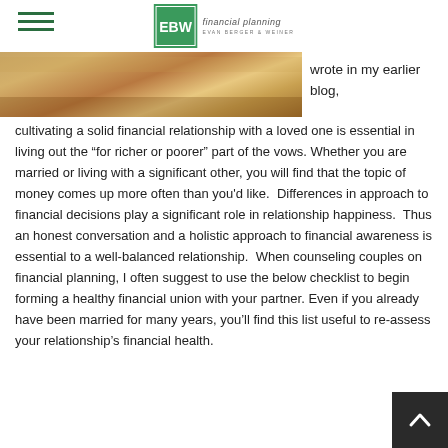EBW financial planning — EVAN BERGER & WEINER
[Figure (photo): Partial photo of a table/plate setting with warm wooden tones, cropped at the top of the page]
wrote in my earlier blog, cultivating a solid financial relationship with a loved one is essential in living out the “for richer or poorer” part of the vows. Whether you are married or living with a significant other, you will find that the topic of money comes up more often than you’d like.  Differences in approach to financial decisions play a significant role in relationship happiness.  Thus an honest conversation and a holistic approach to financial awareness is essential to a well-balanced relationship.  When counseling couples on financial planning, I often suggest to use the below checklist to begin forming a healthy financial union with your partner. Even if you already have been married for many years, you’ll find this list useful to re-assess your relationship’s financial health.